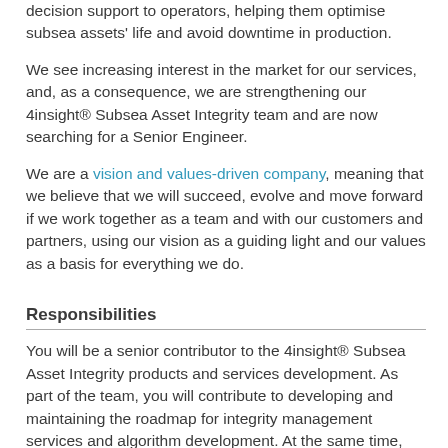decision support to operators, helping them optimise subsea assets' life and avoid downtime in production.
We see increasing interest in the market for our services, and, as a consequence, we are strengthening our 4insight® Subsea Asset Integrity team and are now searching for a Senior Engineer.
We are a vision and values-driven company, meaning that we believe that we will succeed, evolve and move forward if we work together as a team and with our customers and partners, using our vision as a guiding light and our values as a basis for everything we do.
Responsibilities
You will be a senior contributor to the 4insight® Subsea Asset Integrity products and services development. As part of the team, you will contribute to developing and maintaining the roadmap for integrity management services and algorithm development. At the same time, you will work closely with customers to understand the needs, value propositions and ensure customer adoption. More specifically, the role entails: